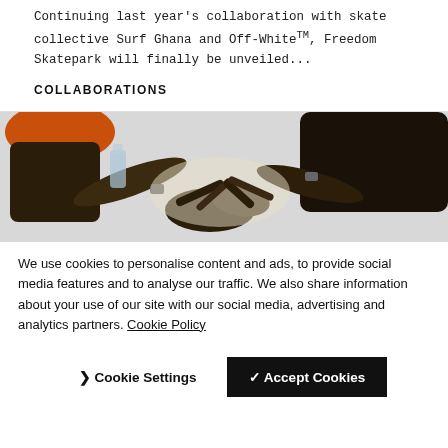Continuing last year's collaboration with skate collective Surf Ghana and Off-WhiteTM, Freedom Skatepark will finally be unveiled...
COLLABORATIONS
[Figure (photo): Low-angle upward shot of a group of people reaching their hands together towards the camera, one wearing orange, bright sky background]
We use cookies to personalise content and ads, to provide social media features and to analyse our traffic. We also share information about your use of our site with our social media, advertising and analytics partners. Cookie Policy
❯ Cookie Settings   ✓ Accept Cookies